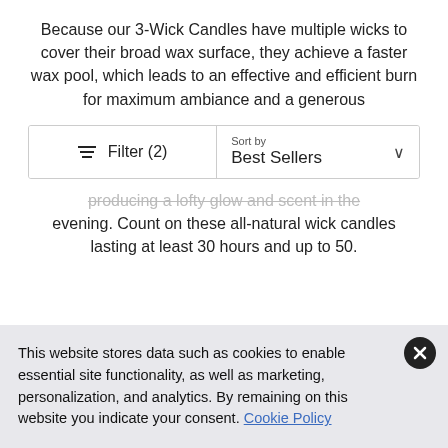Because our 3-Wick Candles have multiple wicks to cover their broad wax surface, they achieve a faster wax pool, which leads to an effective and efficient burn for maximum ambiance and a generous
Filter (2)  Sort by Best Sellers
producing a lofty glow and scent in the evening. Count on these all-natural wick candles lasting at least 30 hours and up to 50.
This website stores data such as cookies to enable essential site functionality, as well as marketing, personalization, and analytics. By remaining on this website you indicate your consent. Cookie Policy